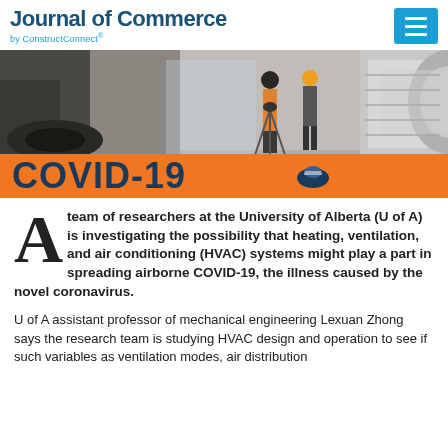Journal of Commerce by ConstructConnect®
[Figure (photo): Construction workers inside a building with HVAC ductwork, overlaid with COVID-19 banner in orange]
A team of researchers at the University of Alberta (U of A) is investigating the possibility that heating, ventilation, and air conditioning (HVAC) systems might play a part in spreading airborne COVID-19, the illness caused by the novel coronavirus.
U of A assistant professor of mechanical engineering Lexuan Zhong  says the research team is studying HVAC design and operation to see if such variables as ventilation modes, air distribution patterns, recirculation rate, filtration, and other factors...